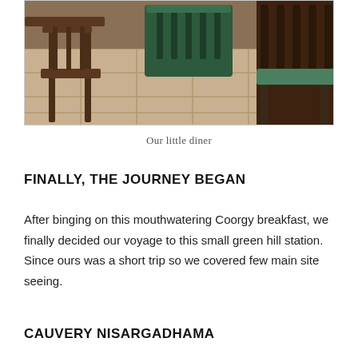[Figure (photo): A photo of wooden dining chairs and a table on a tiled floor. A green cushioned chair is visible in the background. The setting appears to be a small diner or restaurant interior.]
Our little diner
FINALLY, THE JOURNEY BEGAN
After binging on this mouthwatering Coorgy breakfast, we finally decided our voyage to this small green hill station. Since ours was a short trip so we covered few main site seeing.
CAUVERY NISARGADHAMA